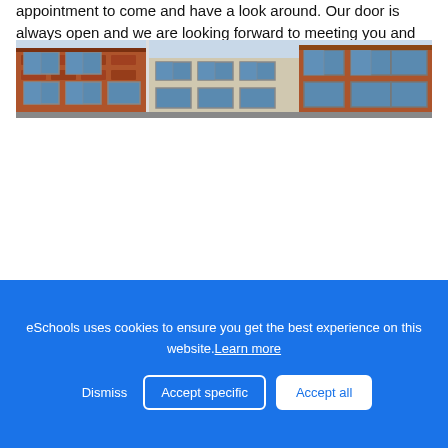appointment to come and have a look around. Our door is always open and we are looking forward to meeting you and your family.
[Figure (photo): Exterior photograph of a school building showing brick walls, large windows, and rooftops]
eSchools uses cookies to ensure you get the best experience on this website. Learn more